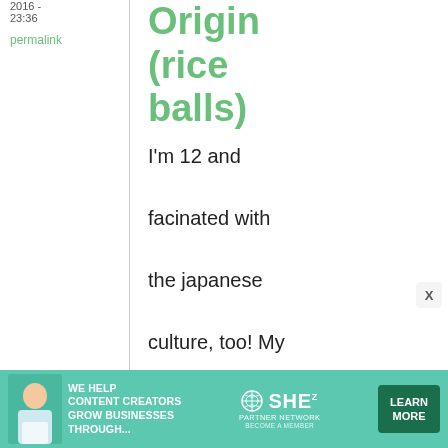2016 - 23:36
permalink
Origin (rice balls)
I'm 12 and facinated with the japanese culture, too! My friend and I both are. In fact, we're having a sleepover soon
[Figure (infographic): Advertisement banner: WE HELP CONTENT CREATORS GROW BUSINESSES THROUGH... SHE PARTNER NETWORK BECOME A MEMBER with LEARN MORE button]